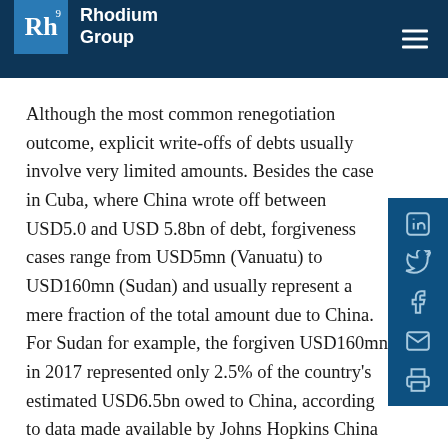Rhodium Group
Although the most common renegotiation outcome, explicit write-offs of debts usually involve very limited amounts. Besides the case in Cuba, where China wrote off between USD5.0 and USD 5.8bn of debt, forgiveness cases range from USD5mn (Vanuatu) to USD160mn (Sudan) and usually represent a mere fraction of the total amount due to China. For Sudan for example, the forgiven USD160mn in 2017 represented only 2.5% of the country's estimated USD6.5bn owed to China, according to data made available by Johns Hopkins China Africa Research